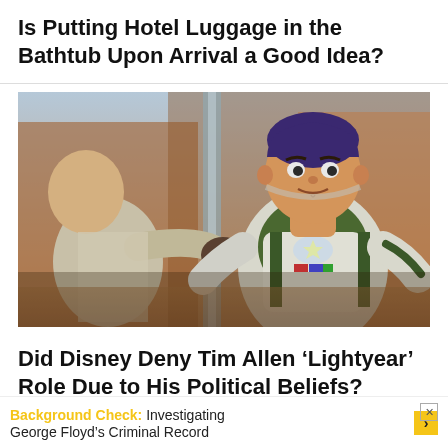Is Putting Hotel Luggage in the Bathtub Upon Arrival a Good Idea?
[Figure (photo): Animated scene from the Lightyear movie showing Buzz Lightyear in his green and white space suit, reaching out with one hand, with dramatic orange-toned background]
Did Disney Deny Tim Allen ‘Lightyear’ Role Due to His Political Beliefs?
Background Check:  Investigating George Floyd’s Criminal Record